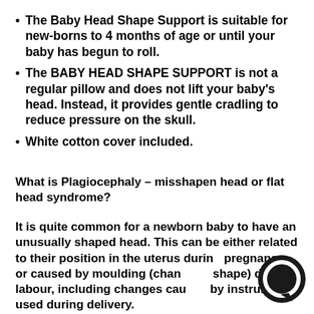The Baby Head Shape Support is suitable for new-borns to 4 months of age or until your baby has begun to roll.
The BABY HEAD SHAPE SUPPORT is not a regular pillow and does not lift your baby's head. Instead, it provides gentle cradling to reduce pressure on the skull.
White cotton cover included.
What is Plagiocephaly – misshapen head or flat head syndrome?
It is quite common for a newborn baby to have an unusually shaped head. This can be either related to their position in the uterus during pregnancy, or caused by moulding (change of shape) during labour, including changes caused by instruments used during delivery.